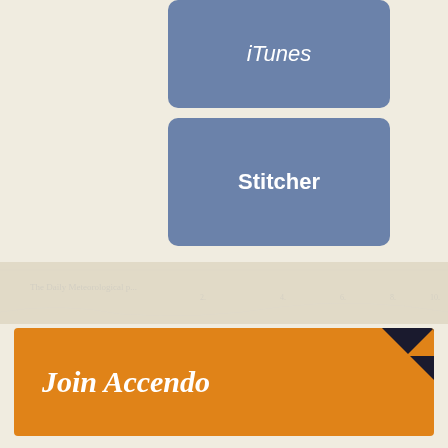[Figure (other): Blue rounded rectangle button labeled 'iTunes' partially visible at top of page]
[Figure (other): Blue rounded rectangle button labeled 'Stitcher']
[Figure (other): Faded antique map texture serving as page background divider]
Join Accendo
Receive information and updates about podcasts and many other resources offered by Accendo Reliability by becoming a member.
…lth for...and...updates...re...join...